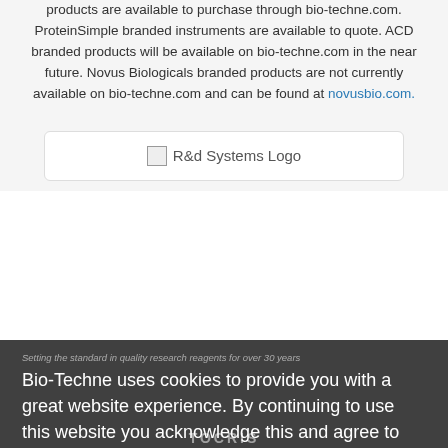products are available to purchase through bio-techne.com. ProteinSimple branded instruments are available to quote. ACD branded products will be available on bio-techne.com in the near future. Novus Biologicals branded products are not currently available on bio-techne.com and can be found at novusbio.com.
[Figure (logo): R&d Systems Logo placeholder image]
Setting the standard in quality research reagents for over 30 years
Bio-Techne uses cookies to provide you with a great website experience. By continuing to use this website you acknowledge this and agree to our cookie policy. Learn more.
A trusted leader in quality life science reagents
TOCRIS